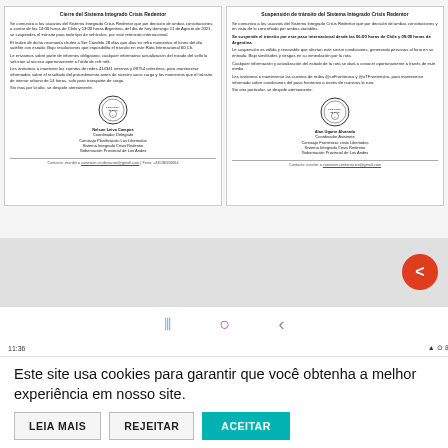[Figure (screenshot): Screenshot of two side-by-side official Chilean government letters about closure/suspension of the 'Sistema Integrado Crisis Redentor', each with an official seal and signature block, on a grey background with a share button.]
[Figure (screenshot): Navigation bar with grid, circle, and back arrow icons on white background]
[Figure (screenshot): Android status bar showing time 11:36 and various status icons]
Este site usa cookies para garantir que você obtenha a melhor experiência em nosso site.
LEIA MAIS
REJEITAR
ACEITAR